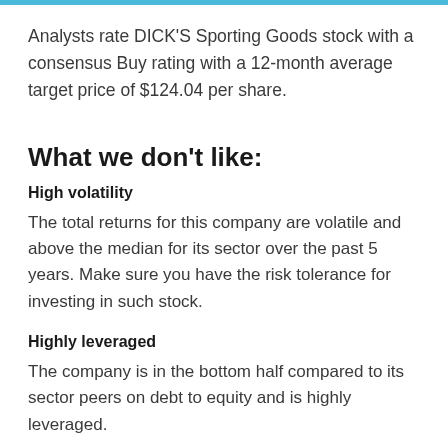Analysts rate DICK'S Sporting Goods stock with a consensus Buy rating with a 12-month average target price of $124.04 per share.
What we don't like:
High volatility
The total returns for this company are volatile and above the median for its sector over the past 5 years. Make sure you have the risk tolerance for investing in such stock.
Highly leveraged
The company is in the bottom half compared to its sector peers on debt to equity and is highly leveraged.